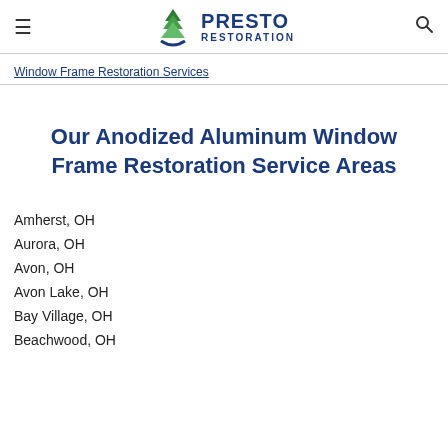Presto Restoration
Window Frame Restoration Services
Our Anodized Aluminum Window Frame Restoration Service Areas
Amherst, OH
Aurora, OH
Avon, OH
Avon Lake, OH
Bay Village, OH
Beachwood, OH